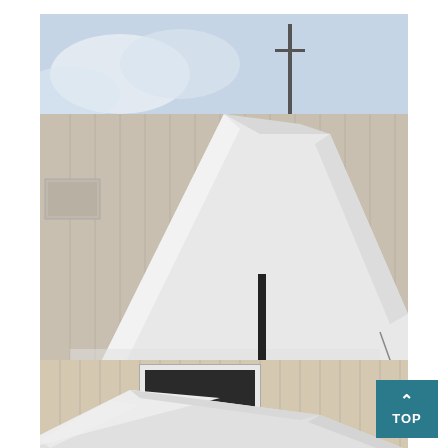[Figure (photo): A boat covered with a large white/gray tarp or shrink wrap, sitting on a black dual-axle trailer in a parking lot. A metal building with vertical siding is visible in the background along with a power pole and partly cloudy sky.]
[Figure (photo): A closer view of a boat covered with a white/silver tarp or shrink wrap, parked near a building with vertical metal siding. A dark framed sign or window is visible on the building.]